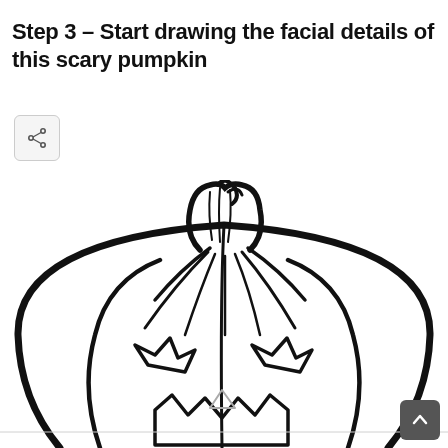Step 3 – Start drawing the facial details of this scary pumpkin
[Figure (illustration): Line drawing of a pumpkin showing the top portion with a curved stem that has texture lines, radiating ribs from the stem base, and the beginning of a jack-o-lantern face (angular eyes and jagged mouth outline) visible at the bottom.]